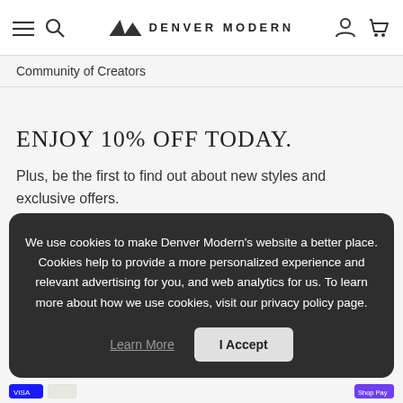≡  🔍  DENVER MODERN  👤  🛒
Community of Creators
ENJOY 10% OFF TODAY.
Plus, be the first to find out about new styles and exclusive offers.
We use cookies to make Denver Modern's website a better place. Cookies help to provide a more personalized experience and relevant advertising for you, and web analytics for us. To learn more about how we use cookies, visit our privacy policy page.
Learn More  I Accept